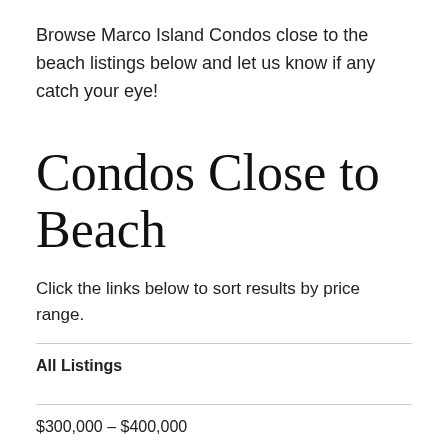Browse Marco Island Condos close to the beach listings below and let us know if any catch your eye!
Condos Close to Beach
Click the links below to sort results by price range.
All Listings
$300,000 - $400,000
$400,000 - $500,000